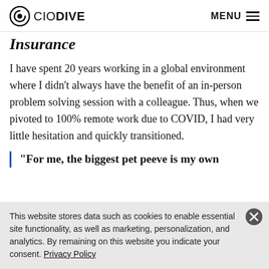CIO DIVE | MENU
Insurance
I have spent 20 years working in a global environment where I didn't always have the benefit of an in-person problem solving session with a colleague. Thus, when we pivoted to 100% remote work due to COVID, I had very little hesitation and quickly transitioned.
“For me, the biggest pet peeve is my own
This website stores data such as cookies to enable essential site functionality, as well as marketing, personalization, and analytics. By remaining on this website you indicate your consent. Privacy Policy